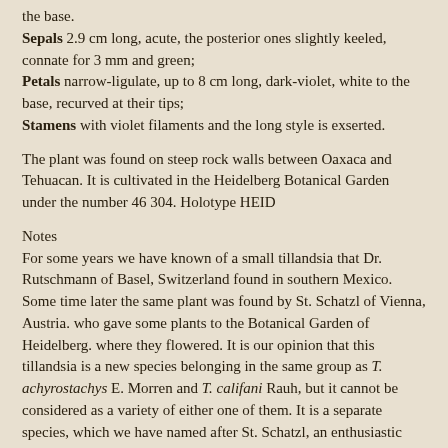the base. Sepals 2.9 cm long, acute, the posterior ones slightly keeled, connate for 3 mm and green; Petals narrow-ligulate, up to 8 cm long, dark-violet, white to the base, recurved at their tips; Stamens with violet filaments and the long style is exserted.
The plant was found on steep rock walls between Oaxaca and Tehuacan. It is cultivated in the Heidelberg Botanical Garden under the number 46 304. Holotype HEID
Notes
For some years we have known of a small tillandsia that Dr. Rutschmann of Basel, Switzerland found in southern Mexico. Some time later the same plant was found by St. Schatzl of Vienna, Austria. who gave some plants to the Botanical Garden of Heidelberg. where they flowered. It is our opinion that this tillandsia is a new species belonging in the same group as T. achyrostachys E. Morren and T. califani Rauh, but it cannot be considered as a variety of either one of them. It is a separate species, which we have named after St. Schatzl, an enthusiastic bromeliad collector.
Updated 11/11/21